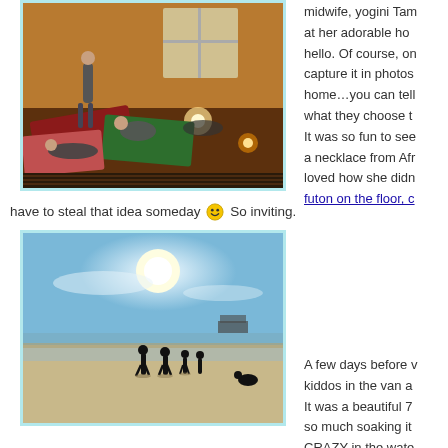[Figure (photo): Indoor yoga class scene with warm candlelit lighting, people practicing yoga on mats in a living room setting]
midwife, yogini Tam at her adorable ho hello. Of course, on capture it in photos home…you can tell what they choose t It was so fun to see a necklace from Afr loved how she didn futon on the floor, c
have to steal that idea someday 😀 So inviting.
[Figure (photo): Beach scene with silhouettes of people walking on a sunny beach with wet sand and an ocean pier in the background]
A few days before v kiddos in the van a It was a beautiful 7 so much soaking it CRAZY in the wate COLD!). They playe saw a horseshoe c seashells. Rocky a water's edge with t walked and chatte soothing about th